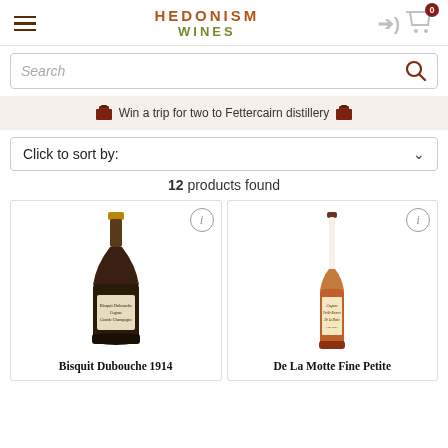[Figure (logo): Hedonism Wines logo with hamburger menu, login arrow, and cart icon]
Search
Win a trip for two to Fettercairn distillery
Click to sort by:
12 products found
[Figure (photo): Bisquit Dubouche 1914 cognac bottle, dark bottle with label]
[Figure (photo): De La Motte Fine Petite cognac bottle, tall slender bottle with label]
Bisquit Dubouche 1914
De La Motte Fine Petite